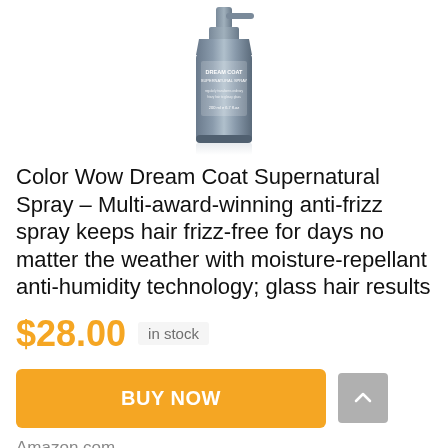[Figure (photo): Color Wow Dream Coat Supernatural Spray product bottle, dark blue/grey metallic bottle with spray pump]
Color Wow Dream Coat Supernatural Spray – Multi-award-winning anti-frizz spray keeps hair frizz-free for days no matter the weather with moisture-repellant anti-humidity technology; glass hair results
$28.00  in stock
BUY NOW
Amazon.com